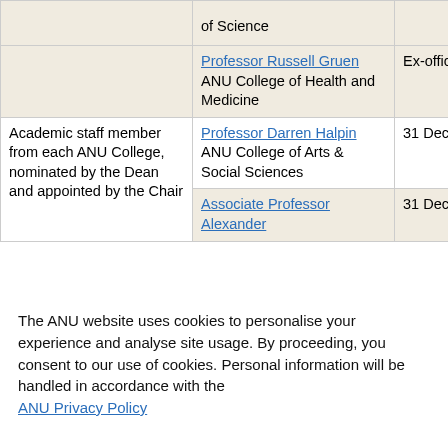| Role | Member | Term |
| --- | --- | --- |
|  | of Science |  |
|  | Professor Russell Gruen
ANU College of Health and Medicine | Ex-officio |
| Academic staff member from each ANU College, nominated by the Dean and appointed by the Chair | Professor Darren Halpin
ANU College of Arts & Social Sciences | 31 Dec 2023 |
|  | Associate Professor Alexander | 31 Dec 2023 |
The ANU website uses cookies to personalise your experience and analyse site usage. By proceeding, you consent to our use of cookies. Personal information will be handled in accordance with the ANU Privacy Policy